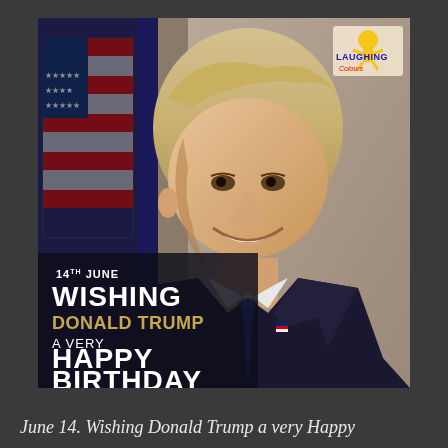[Figure (photo): Photo of Donald Trump smiling in a dark suit and blue tie, with an American flag in the background. Bottom-left overlay text reads: '14TH JUNE / WISHING / DONALD TRUMP / A VERY / HAPPY / BIRTHDAY'. Top-right corner shows the 'Laughing Colours' logo.]
June 14. Wishing Donald Trump a very Happy